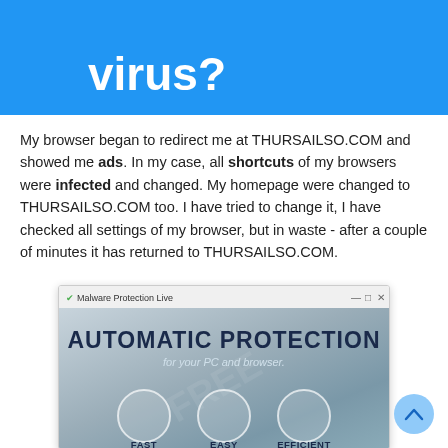virus?
My browser began to redirect me at THURSAILSO.COM and showed me ads. In my case, all shortcuts of my browsers were infected and changed. My homepage were changed to THURSAILSO.COM too. I have tried to change it, I have checked all settings of my browser, but in waste - after a couple of minutes it has returned to THURSAILSO.COM.
[Figure (screenshot): Screenshot of Malware Protection Live application window showing 'AUTOMATIC PROTECTION for your PC and browser.' with three circles labeled FAST, EASY, EFFICIENT]